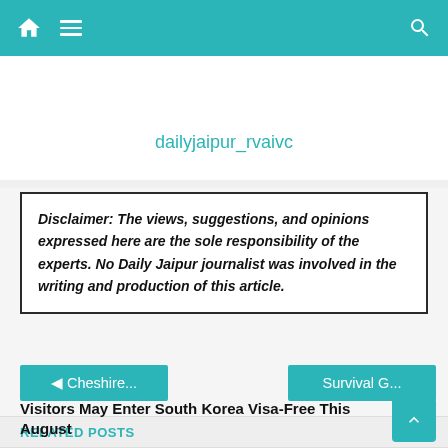dailyjaipur_rvaivc — navigation bar with home, menu, search icons
dailyjaipur_rvaivc
Disclaimer: The views, suggestions, and opinions expressed here are the sole responsibility of the experts. No Daily Jaipur journalist was involved in the writing and production of this article.
◄ Cheshire...
Survival G...
RELATED POSTS
Visitors May Enter South Korea Visa-Free This August